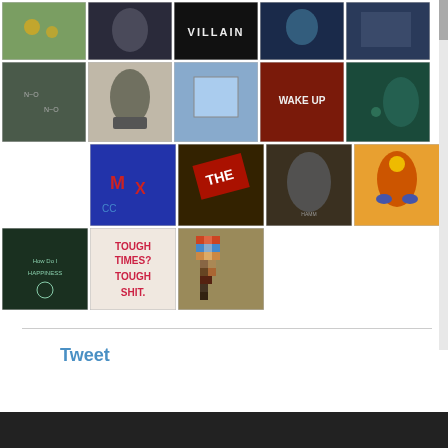[Figure (photo): Grid of street art and urban photography images arranged in 4 rows. Row 1: 5 images including colorful mural, dark figure, VILLAIN text, blue face, and building. Row 2: 5 images including tattoo art, black-and-white portrait, gallery room, WAKE UP graffiti, underwater scene. Row 3: 4 images offset right including colorful graffiti letters, THE text art, Jimi Hendrix figure, tribal face mural. Row 4: 3 images including 'How Do Happiness' chalk art, 'TOUGH TIMES? TOUGH SHIT.' text, mosaic pixel art.]
Tweet